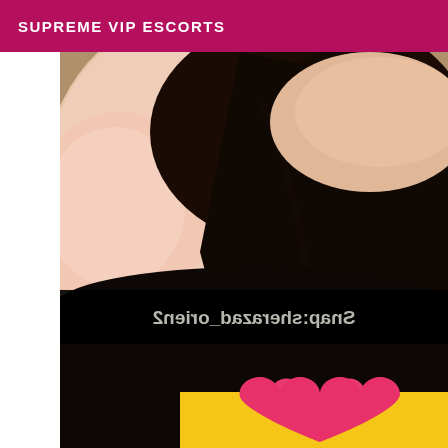SUPREME VIP ESCORTS
[Figure (photo): Photo of a person with dark hair wearing black clothing, partially obscured. A mirrored/reversed Snapchat username overlay reads 'Snap:sherazad_orien2' on a black bar. A pink heart emoji and yellow background visible at the bottom.]